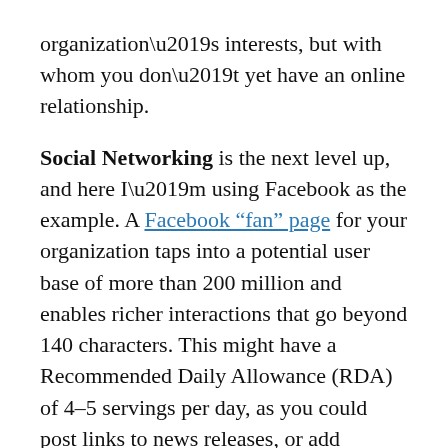organization’s interests, but with whom you don’t yet have an online relationship.
Social Networking is the next level up, and here I’m using Facebook as the example. A Facebook “fan” page for your organization taps into a potential user base of more than 200 million and enables richer interactions that go beyond 140 characters. This might have a Recommended Daily Allowance (RDA) of 4–5 servings per day, as you could post links to news releases, or add upcoming events, or upload photos or video, for example. Balanced use even within the Facebook platform is advisable: if you send Updates several times a day, you’ll quickly turn off your “fans” unless